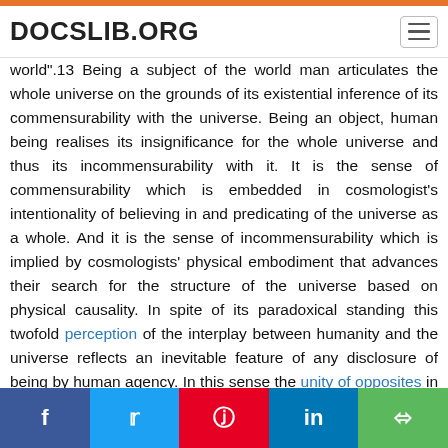DOCSLIB.ORG
world".13 Being a subject of the world man articulates the whole universe on the grounds of its existential inference of its commensurability with the universe. Being an object, human being realises its insignificance for the whole universe and thus its incommensurability with it. It is the sense of commensurability which is embedded in cosmologist's intentionality of believing in and predicating of the universe as a whole. And it is the sense of incommensurability which is implied by cosmologists' physical embodiment that advances their search for the structure of the universe based on physical causality. In spite of its paradoxical standing this twofold perception of the interplay between humanity and the universe reflects an inevitable feature of any disclosure of being by human agency. In this sense the unity of opposites in this paradox is still preserved by the uniqueness of humanity as the centre of disclosure. Correspondingly any pretence of sheer objectivity for the knowledge of the universe as a whole is blatantly incorrect so that a simple relief from this tension would be to conjecture that the content of cosmological